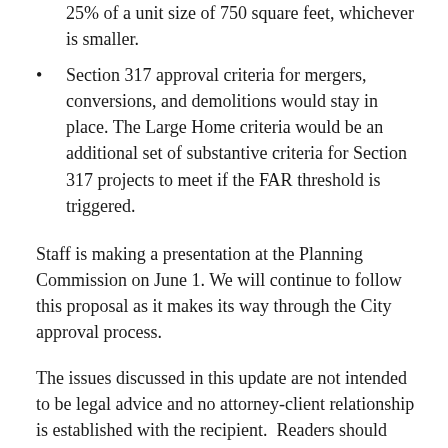Section 317 approval criteria for mergers, conversions, and demolitions would stay in place. The Large Home criteria would be an additional set of substantive criteria for Section 317 projects to meet if the FAR threshold is triggered.
Staff is making a presentation at the Planning Commission on June 1. We will continue to follow this proposal as it makes its way through the City approval process.
The issues discussed in this update are not intended to be legal advice and no attorney-client relationship is established with the recipient.  Readers should consult with legal counsel before relying on any of the information contained herein. Buchalter's & Russell Price follow